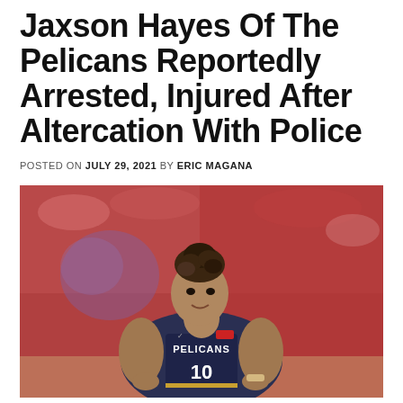Jaxson Hayes Of The Pelicans Reportedly Arrested, Injured After Altercation With Police
POSTED ON JULY 29, 2021 BY ERIC MAGANA
[Figure (photo): Jaxson Hayes wearing New Orleans Pelicans #10 navy blue jersey, standing with hands on hips, looking forward, basketball arena crowd in background]